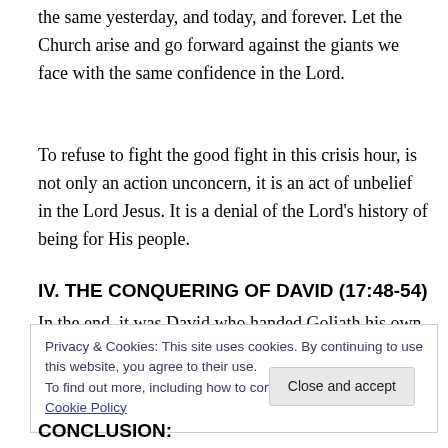the same yesterday, and today, and forever. Let the Church arise and go forward against the giants we face with the same confidence in the Lord.
To refuse to fight the good fight in this crisis hour, is not only an action unconcern, it is an act of unbelief in the Lord Jesus. It is a denial of the Lord's history of being for His people.
IV. THE CONQUERING OF DAVID (17:48-54)
In the end, it was David who handed Goliath his own head
Privacy & Cookies: This site uses cookies. By continuing to use this website, you agree to their use.
To find out more, including how to control cookies, see here: Cookie Policy
Close and accept
CONCLUSION: